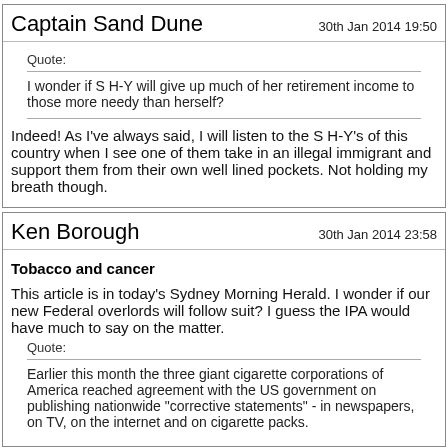Captain Sand Dune
30th Jan 2014 19:50
Quote:
I wonder if S H-Y will give up much of her retirement income to those more needy than herself?
Indeed! As I've always said, I will listen to the S H-Y's of this country when I see one of them take in an illegal immigrant and support them from their own well lined pockets. Not holding my breath though.
Ken Borough
30th Jan 2014 23:58
Tobacco and cancer
This article is in today's Sydney Morning Herald. I wonder if our new Federal overlords will follow suit? I guess the IPA would have much to say on the matter.
Quote:
Earlier this month the three giant cigarette corporations of America reached agreement with the US government on publishing nationwide "corrective statements" - in newspapers, on TV, on the internet and on cigarette packs.